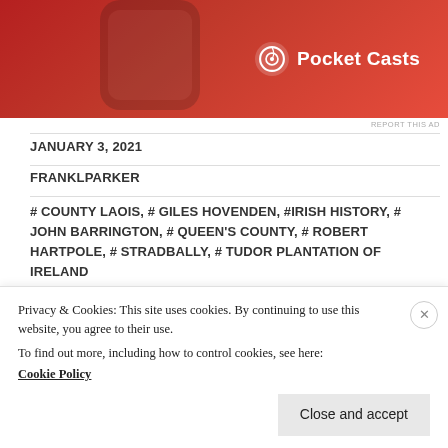[Figure (photo): Pocket Casts app advertisement banner on red background showing a smartwatch interface]
REPORT THIS AD
JANUARY 3, 2021
FRANKLPARKER
# COUNTY LAOIS, # GILES HOVENDEN, #IRISH HISTORY, # JOHN BARRINGTON, # QUEEN'S COUNTY, # ROBERT HARTPOLE, # STRADBALLY, # TUDOR PLANTATION OF IRELAND
SHARE THIS:
TWITTER  EMAIL  PRINT  STUMBLEUPON
Privacy & Cookies: This site uses cookies. By continuing to use this website, you agree to their use.
To find out more, including how to control cookies, see here:
Cookie Policy
Close and accept